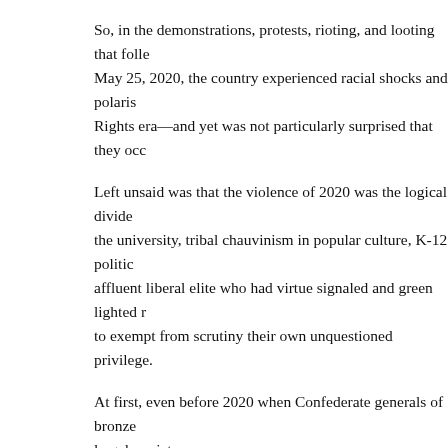So, in the demonstrations, protests, rioting, and looting that follo... May 25, 2020, the country experienced racial shocks and polari... Rights era—and yet was not particularly surprised that they occ...
Left unsaid was that the violence of 2020 was the logical divide... the university, tribal chauvinism in popular culture, K-12 politic... affluent liberal elite who had virtue signaled and green lighted r... to exempt from scrutiny their own unquestioned privilege.
At first, even before 2020 when Confederate generals of bronze... largely quiet.
Of course, the people did not like the mob's vandalism and noct... hand, they also did not quite see why the nation—even in the ex... Stonewall Jackson or Nathan Bedford Forrest in the first place. ... but almost all were diehard secessionists who had been unapolo... righteous cause of the rebellious slave-owning Confederacy.
Still...